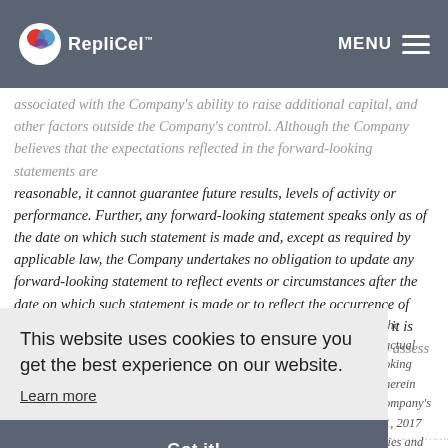RepliCel™ | MENU
associated with the Company's ability to raise additional capital, and other factors outside the Company's control. Although the Company believes that the expectations reflected in the forward-looking statements are reasonable, it cannot guarantee future results, levels of activity or performance. Further, any forward-looking statement speaks only as of the date on which such statement is made and, except as required by applicable law, the Company undertakes no obligation to update any forward-looking statement to reflect events or circumstances after the date on which such statement is made or to reflect the occurrence of unanticipated events. New factors emerge from time to time, and it is not possible for management to predict all of such factors and to assess in advance the impact, if any, that such factors might have on actual results and the extent to which any factor, or combination of factors, may cause actual results to differ materially from those contained in the forward-looking statements. Accordingly, you should not place undue reliance on information herein or the Company's securities. All documents referenced by the Company's Annual Report, as filed with British Columbia Securities Commission on SEDAR at www.sedar.com
This website uses cookies to ensure you get the best experience on our website.
Learn more
Got it!